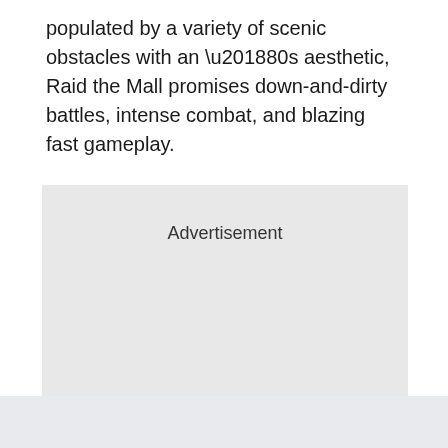populated by a variety of scenic obstacles with an ‘80s aesthetic, Raid the Mall promises down-and-dirty battles, intense combat, and blazing fast gameplay.
[Figure (other): Advertisement placeholder box with light grey background and the label 'Advertisement' centered near the top.]